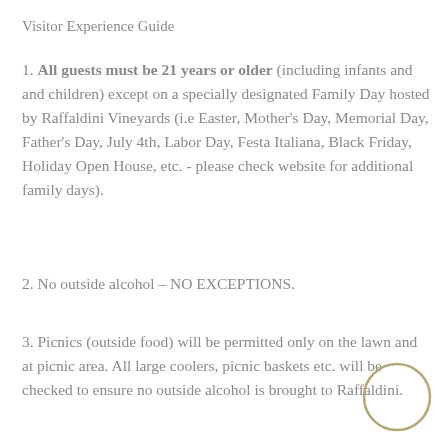Visitor Experience Guide
1. All guests must be 21 years or older (including infants and and children) except on a specially designated Family Day hosted by Raffaldini Vineyards (i.e Easter, Mother’s Day, Memorial Day, Father’s Day, July 4th, Labor Day, Festa Italiana, Black Friday, Holiday Open House, etc. - please check website for additional family days).
2. No outside alcohol – NO EXCEPTIONS.
3. Picnics (outside food) will be permitted only on the lawn and at picnic area. All large coolers, picnic baskets etc. will be checked to ensure no outside alcohol is brought to Raffaldini.